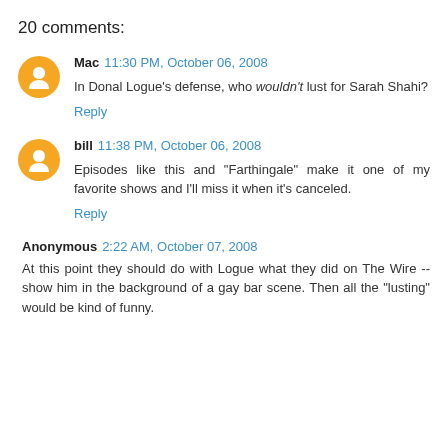20 comments:
Mac 11:30 PM, October 06, 2008
In Donal Logue's defense, who wouldn't lust for Sarah Shahi?
Reply
bill 11:38 PM, October 06, 2008
Episodes like this and "Farthingale" make it one of my favorite shows and I'll miss it when it's canceled.
Reply
Anonymous 2:22 AM, October 07, 2008
At this point they should do with Logue what they did on The Wire -- show him in the background of a gay bar scene. Then all the "lusting" would be kind of funny.